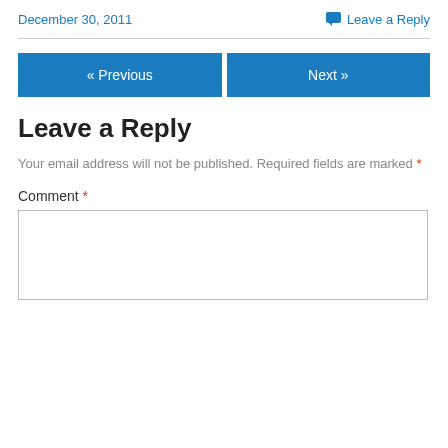December 30, 2011
Leave a Reply
« Previous
Next »
Leave a Reply
Your email address will not be published. Required fields are marked *
Comment *